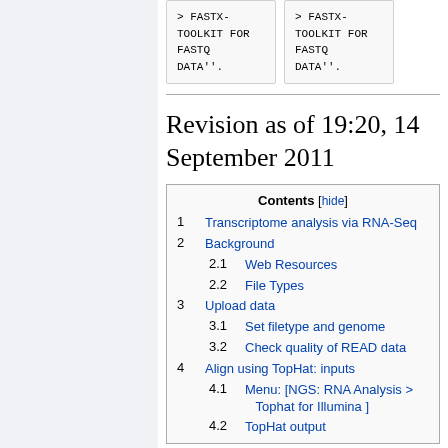> FASTX-TOOLKIT FOR FASTQ DATA''.
> FASTX-TOOLKIT FOR FASTQ DATA''.
Revision as of 19:20, 14 September 2011
| 1 | Transcriptome analysis via RNA-Seq |
| 2 | Background |
| 2.1 | Web Resources |
| 2.2 | File Types |
| 3 | Upload data |
| 3.1 | Set filetype and genome |
| 3.2 | Check quality of READ data |
| 4 | Align using TopHat: inputs |
| 4.1 | Menu: [NGS: RNA Analysis > Tophat for Illumina ] |
| 4.2 | TopHat output |